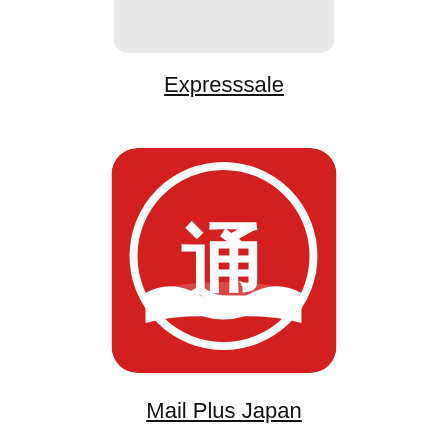[Figure (logo): Expresssale logo - light gray rounded rectangle placeholder]
Expresssale
[Figure (logo): Mail Plus Japan logo - red rounded square with white Chinese character 通 (tong) in circular design]
Mail Plus Japan
[Figure (logo): Kua Yue Express logo - light gray rounded rectangle with KYE 跨越速运 KUAYUE-EXPRESS text in purple/blue]
Kua Yue Express
[Figure (logo): CAE DELIVERS logo - light gray rounded rectangle with CAE in gray and DELIVERS in orange text]